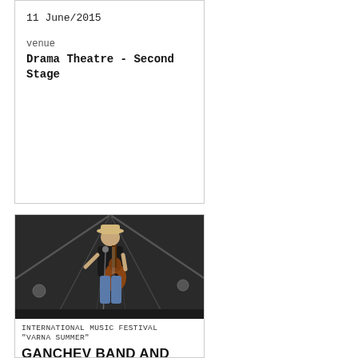11 June/2015
venue
Drama Theatre - Second Stage
[Figure (photo): A musician with a guitar and hat performing on stage under a tent at an outdoor festival]
INTERNATIONAL MUSIC FESTIVAL
"VARNA SUMMER"
GANCHEV BAND AND FRIENDS